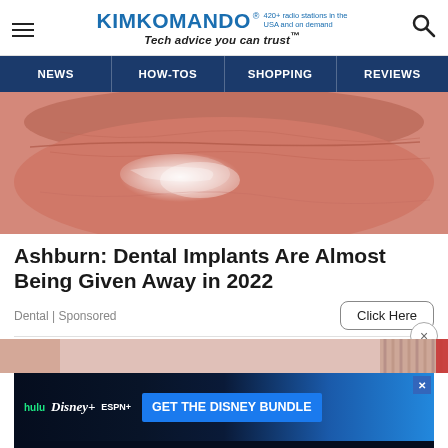KIM KOMANDO® · Tech advice you can trust™ · 420+ radio stations in the USA and on demand
NEWS | HOW-TOS | SHOPPING | REVIEWS
[Figure (photo): Close-up macro photo of human lips with glossy skin texture in pink/salmon tones]
Ashburn: Dental Implants Are Almost Being Given Away in 2022
Dental | Sponsored
Click Here
[Figure (photo): Partial banner image at bottom, appears to be a secondary article image strip]
[Figure (infographic): Disney Bundle advertisement banner with Hulu, Disney+, ESPN+ logos and GET THE DISNEY BUNDLE CTA. Incl. Hulu (ad-supported) or Hulu (No Ads). Access content from each service separately. ©2021 Disney and its related entities.]